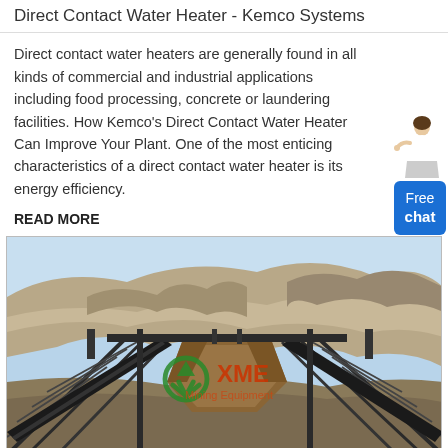Direct Contact Water Heater - Kemco Systems
Direct contact water heaters are generally found in all kinds of commercial and industrial applications including food processing, concrete or laundering facilities. How Kemco's Direct Contact Water Heater Can Improve Your Plant. One of the most enticing characteristics of a direct contact water heater is its energy efficiency.
READ MORE
[Figure (photo): Industrial mining facility with conveyor belts, steel structure frameworks, and rocky quarry hillside in the background. XME Mining Equipment watermark visible in green and red text in the center of the image.]